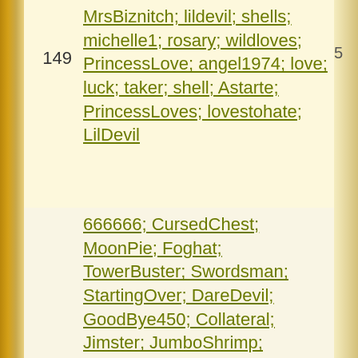| # | Usernames |  |
| --- | --- | --- |
| 149 | MrsBiznitch; lildevil; shells; michelle1; rosary; wildloves; PrincessLove; angel1974; love; luck; taker; shell; Astarte; PrincessLoves; lovestohate; LilDevil | 5 |
|  | 666666; CursedChest; MoonPie; Foghat; TowerBuster; Swordsman; StartingOver; DareDevil; GoodBye450; Collateral; Jimster; JumboShrimp; DoubleBubble; BellRinger; DeadPool; |  |